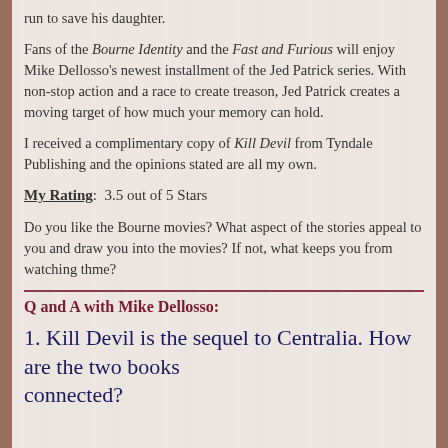run to save his daughter.
Fans of the Bourne Identity and the Fast and Furious will enjoy Mike Dellosso's newest installment of the Jed Patrick series. With non-stop action and a race to create treason, Jed Patrick creates a moving target of how much your memory can hold.
I received a complimentary copy of Kill Devil from Tyndale Publishing and the opinions stated are all my own.
My Rating:  3.5 out of 5 Stars
Do you like the Bourne movies? What aspect of the stories appeal to you and draw you into the movies? If not, what keeps you from watching thme?
Q and A with Mike Dellosso:
1. Kill Devil is the sequel to Centralia. How are the two books connected?